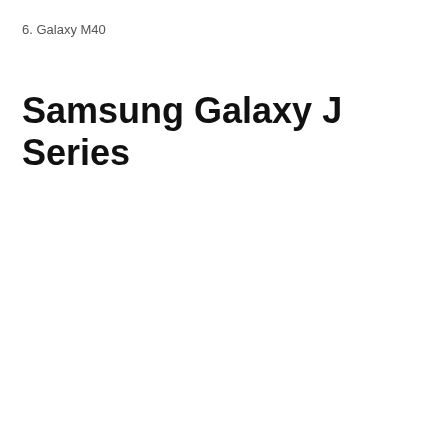6. Galaxy M40
Samsung Galaxy J Series